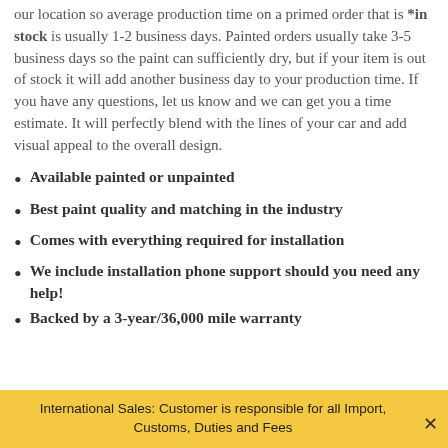our location so average production time on a primed order that is *in stock is usually 1-2 business days. Painted orders usually take 3-5 business days so the paint can sufficiently dry, but if your item is out of stock it will add another business day to your production time. If you have any questions, let us know and we can get you a time estimate. It will perfectly blend with the lines of your car and add visual appeal to the overall design.
Available painted or unpainted
Best paint quality and matching in the industry
Comes with everything required for installation
We include installation phone support should you need any help!
Backed by a 3-year/36,000 mile warranty
International Sales: Customer is responsible for all Import, Customs, Duties and Fees